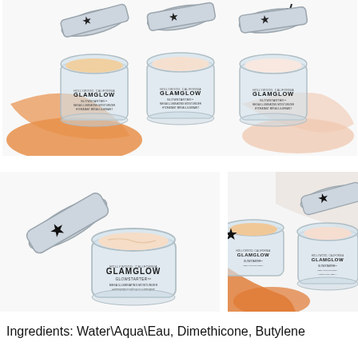[Figure (photo): Three GLAMGLOW GLOWSTARTER Mega Illuminating Moisturizer jars with lids open, showing cream inside. Left jar has an orange/tan colored cream swatch, right side shows a light pink/white swatch. Products arranged in a row on white background.]
[Figure (photo): Single GLAMGLOW GLOWSTARTER Mega Illuminating Moisturizer jar open with lid beside it, showing light pink cream inside, on white background.]
[Figure (photo): Two GLAMGLOW GLOWSTARTER jars open side by side with orange and white cream swatches visible in background.]
Ingredients: Water\Aqua\Eau, Dimethicone, Butylene